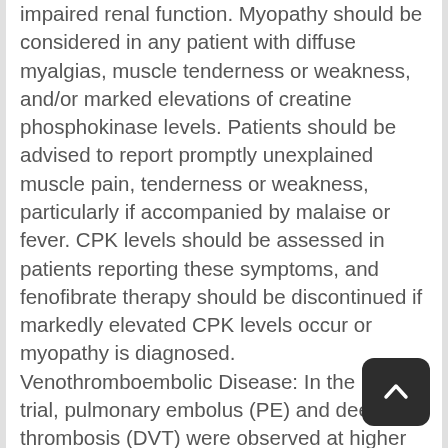impaired renal function. Myopathy should be considered in any patient with diffuse myalgias, muscle tenderness or weakness, and/or marked elevations of creatine phosphokinase levels. Patients should be advised to report promptly unexplained muscle pain, tenderness or weakness, particularly if accompanied by malaise or fever. CPK levels should be assessed in patients reporting these symptoms, and fenofibrate therapy should be discontinued if markedly elevated CPK levels occur or myopathy is diagnosed. Venothromboembolic Disease: In the FIELD trial, pulmonary embolus (PE) and deep vein thrombosis (DVT) were observed at higher rates in the fenofibrate- than the placebo-treated group. Of 9,795 patients enrolled in the FIELD, there were 4,900 in the placebo group